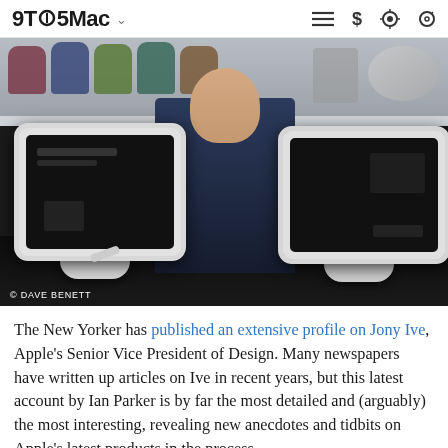9TO5Mac
[Figure (photo): A man standing behind two iMac G4 monitors on a dark table. Behind him are shelves with colorful iMac G3 computers. Photo credit: © DAVE BENETT]
The New Yorker has published an extensive profile on Jony Ive, Apple's Senior Vice President of Design. Many newspapers have written up articles on Ive in recent years, but this latest account by Ian Parker is by far the most detailed and (arguably) the most interesting, revealing new anecdotes and tidbits on Apple's latest products in the process.